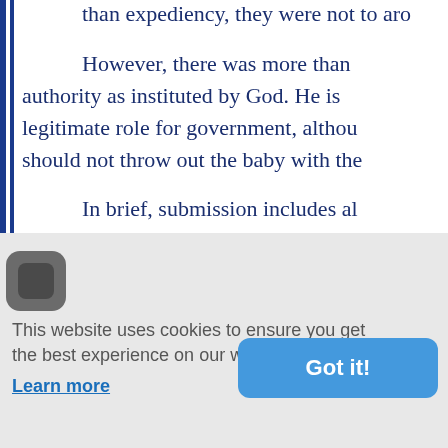than expediency, they were not to aro...
However, there was more than authority as instituted by God. He is legitimate role for government, althou should not throw out the baby with the
In brief, submission includes al always necessary to yield to the highe
Within such broad constraints, C approaches to economic issues. For i enjoined. Although in some instances
This website uses cookies to ensure you get the best experience on our website. Learn more